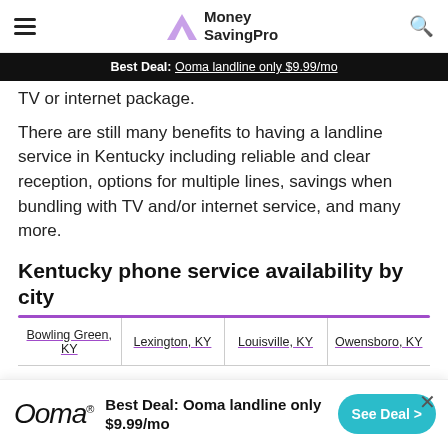Money SavingPro
Best Deal: Ooma landline only $9.99/mo
TV or internet package.
There are still many benefits to having a landline service in Kentucky including reliable and clear reception, options for multiple lines, savings when bundling with TV and/or internet service, and many more.
Kentucky phone service availability by city
| Bowling Green, KY | Lexington, KY | Louisville, KY | Owensboro, KY |
| --- | --- | --- | --- |
[Figure (infographic): Teal/cyan progress bar partially filled on a light gray track]
Best Deal: Ooma landline only $9.99/mo
See Deal >